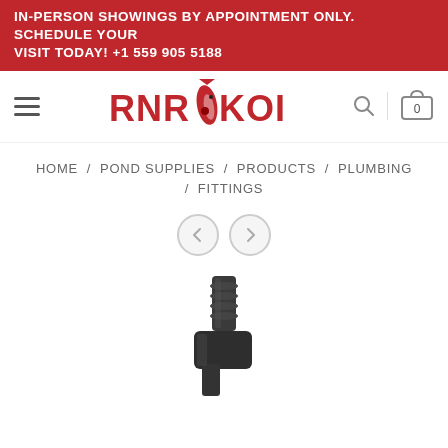IN-PERSON SHOWINGS BY APPOINTMENT ONLY. SCHEDULE YOUR VISIT TODAY! +1 559 905 5188
[Figure (logo): RNR KOI logo with koi fish graphic in red and black]
HOME / POND SUPPLIES / PRODUCTS / PLUMBING / FITTINGS
[Figure (other): Navigation arrows (left and right chevron buttons) and wishlist heart icon button]
[Figure (photo): Product photo: black plastic plumbing fitting connector piece, barbed elbow/adapter type]